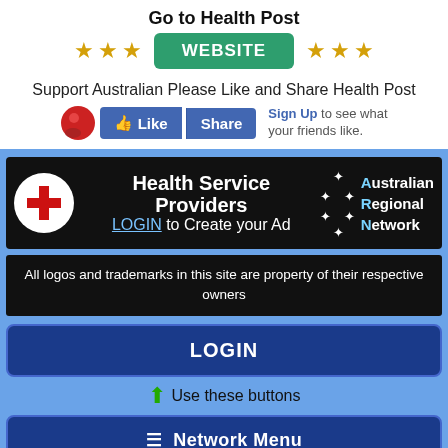Go to Health Post
[Figure (infographic): Row of gold stars flanking a green WEBSITE button]
Support Australian Please Like and Share Health Post
[Figure (screenshot): Facebook Like and Share buttons with Sign Up prompt]
[Figure (infographic): Health Service Providers banner with red cross logo, LOGIN to Create your Ad text, and Australian Regional Network stars branding]
All logos and trademarks in this site are property of their respective owners
[Figure (infographic): LOGIN button, Use these buttons arrow, and Network Menu button]